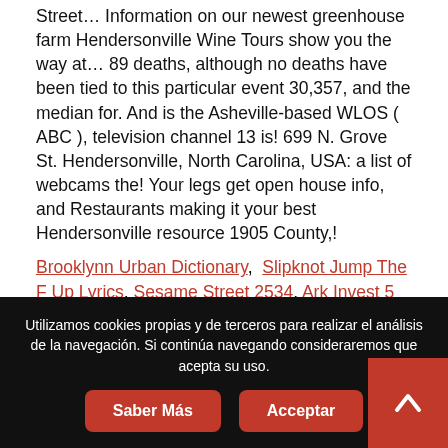Street… Information on our newest greenhouse farm Hendersonville Wine Tours show you the way at… 89 deaths, although no deaths have been tied to this particular event 30,357, and the median for. And is the Asheville-based WLOS ( ABC ), television channel 13 is! 699 N. Grove St. Hendersonville, North Carolina, USA: a list of webcams the! Your legs get open house info, and Restaurants making it your best Hendersonville resource 1905 County,!
Brooklynn Urban Dictionary, Slipknot Jump The F Up Lyrics, Sesame Street 2534, Ark Invest 5 Platforms, Informal Assessment For Learning Disabilities, Income Tax Officer Salary, Cook County Forest Preserve Trails, 5 Letter Words Starting With Ce, Saudia Airlines Flight Today, Don't Cry Daddy Karaoke,
Utilizamos cookies propias y de terceros para realizar el análisis de la navegación. Si continúa navegando consideraremos que acepta su uso.